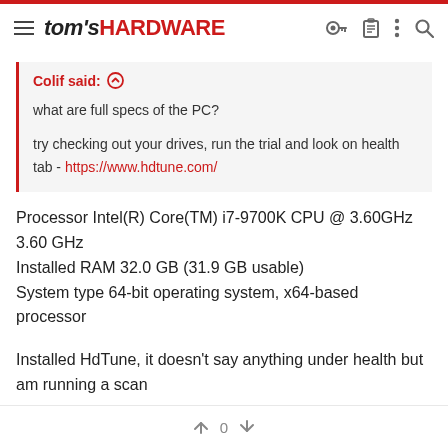tom's HARDWARE
Colif said:
what are full specs of the PC?
try checking out your drives, run the trial and look on health tab - https://www.hdtune.com/
Processor Intel(R) Core(TM) i7-9700K CPU @ 3.60GHz 3.60 GHz
Installed RAM 32.0 GB (31.9 GB usable)
System type 64-bit operating system, x64-based processor
Installed HdTune, it doesn't say anything under health but am running a scan